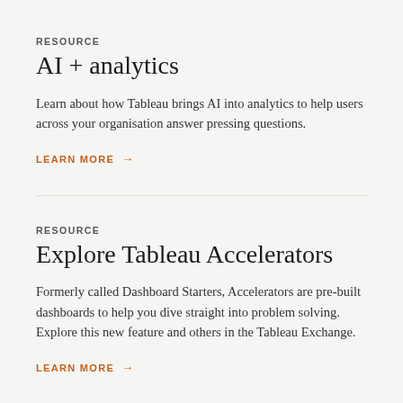RESOURCE
AI + analytics
Learn about how Tableau brings AI into analytics to help users across your organisation answer pressing questions.
LEARN MORE →
RESOURCE
Explore Tableau Accelerators
Formerly called Dashboard Starters, Accelerators are pre-built dashboards to help you dive straight into problem solving. Explore this new feature and others in the Tableau Exchange.
LEARN MORE →